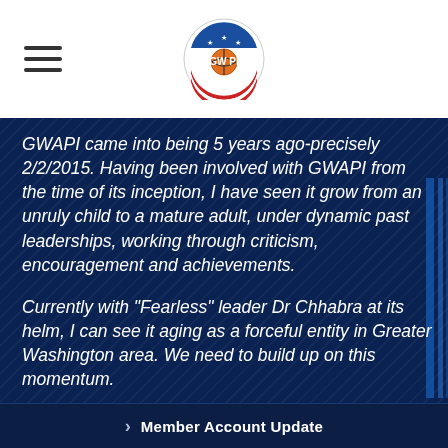GWAPI logo and navigation menu
GWAPI came into being 5 years ago-precisely 2/2/2015. Having been involved with GWAPI from the time of its inception, I have seen it grow from an unruly child to a mature adult, under dynamic past leaderships, working through criticism, encouragement and achievements.
Currently with “Fearless” leader Dr Chhabra at its helm, I can see it aging as a forceful entity in Greater Washington area. We need to build up on this momentum.
This is your organization and you are its
> Member Account Update